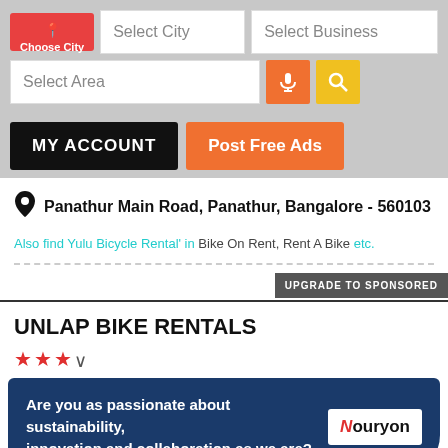[Figure (screenshot): Web interface header with Choose City button, Select City and Select Business dropdowns, Select Area field with microphone and search icons]
[Figure (screenshot): MY ACCOUNT and Post Free Ads buttons]
Panathur Main Road, Panathur, Bangalore - 560103
Also find Yulu Bicycle Rental' in Bike On Rent, Rent A Bike etc.
UPGRADE TO SPONSORED
UNLAP BIKE RENTALS
Are you as passionate about sustainability, innovation and collaboration as we are? Nouryon